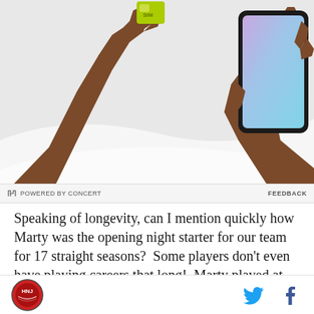[Figure (illustration): Illustration of two dark-skinned hands: left hand holding a small green SIM card, right hand holding a large smartphone with a colorful gradient screen, on a light grey background]
POWERED BY CONCERT   FEEDBACK
Speaking of longevity, can I mention quickly how Marty was the opening night starter for our team for 17 straight seasons?  Some players don't even have playing careers that long!  Marty played at such a high level for so long that he was the go to guy in net for the
HNJ logo | Twitter icon | Facebook icon